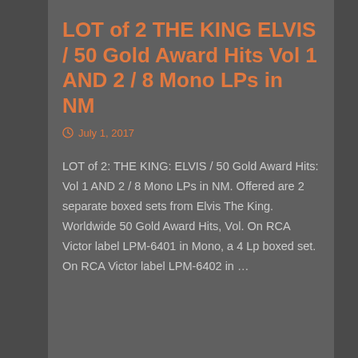LOT of 2 THE KING ELVIS / 50 Gold Award Hits Vol 1 AND 2 / 8 Mono LPs in NM
July 1, 2017
LOT of 2: THE KING: ELVIS / 50 Gold Award Hits: Vol 1 AND 2 / 8 Mono LPs in NM. Offered are 2 separate boxed sets from Elvis The King. Worldwide 50 Gold Award Hits, Vol. On RCA Victor label LPM-6401 in Mono, a 4 Lp boxed set. On RCA Victor label LPM-6402 in …